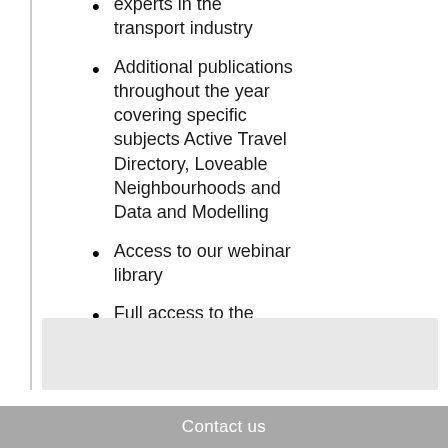experts in the transport industry
Additional publications throughout the year covering specific subjects Active Travel Directory, Loveable Neighbourhoods and Data and Modelling
Access to our webinar library
Full access to the 50,000 article archive
Tailored E-bulletins
Contact us